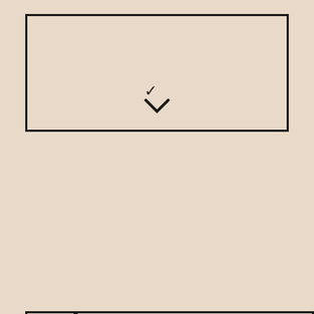[Figure (illustration): Top decorative box with a chevron/down-arrow symbol centered at the bottom]
06
BEST SCREENWRITING FOCUS
ACADEMY OF ART UNIVERSITY